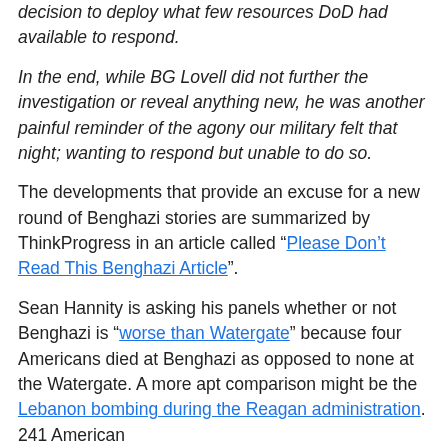decision to deploy what few resources DoD had available to respond.
In the end, while BG Lovell did not further the investigation or reveal anything new, he was another painful reminder of the agony our military felt that night; wanting to respond but unable to do so.
The developments that provide an excuse for a new round of Benghazi stories are summarized by ThinkProgress in an article called “Please Don’t Read This Benghazi Article”.
Sean Hannity is asking his panels whether or not Benghazi is “worse than Watergate” because four Americans died at Benghazi as opposed to none at the Watergate. A more apt comparison might be the Lebanon bombing during the Reagan administration. 241 American